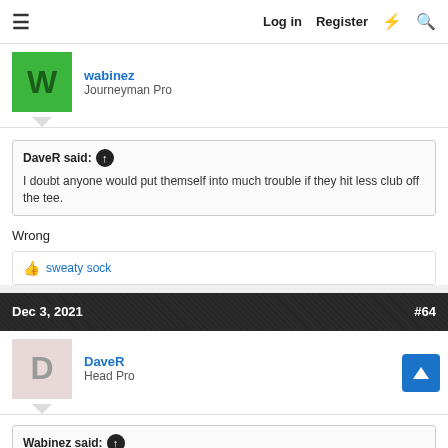≡  Log in  Register  ⚡  🔍
wabinez
Journeyman Pro
DaveR said: ↑
I doubt anyone would put themself into much trouble if they hit less club off the tee.
Wrong
👍 sweaty sock
Dec 3, 2021  #64
DaveR
Head Pro
Wabinez said: ↑